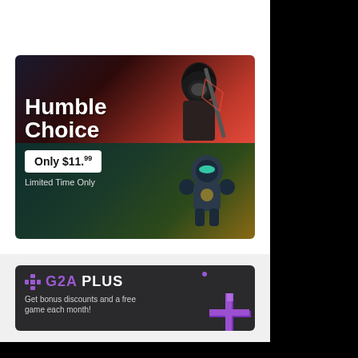[Figure (screenshot): Humble Choice promotional banner ad showing 'Only $11.99 Limited Time Only' with dark-robed hooded character and robot character against red/teal background]
[Figure (screenshot): G2A Plus promotional banner with purple logo and text 'Get bonus discounts and a free game each month!' with purple gem/cross icon]